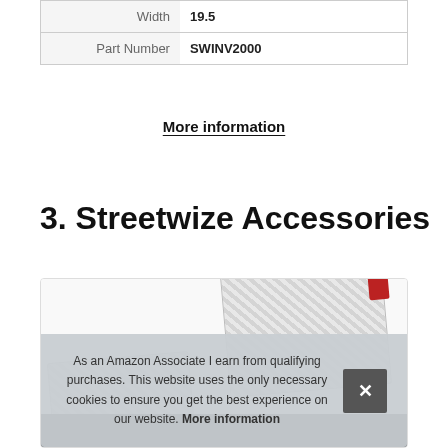|  |  |
| --- | --- |
| Width | 19.5 |
| Part Number | SWINV2000 |
More information
3. Streetwize Accessories
[Figure (photo): Product card showing a power inverter product with diagonal stripe pattern and a cookie consent banner overlay]
As an Amazon Associate I earn from qualifying purchases. This website uses the only necessary cookies to ensure you get the best experience on our website. More information